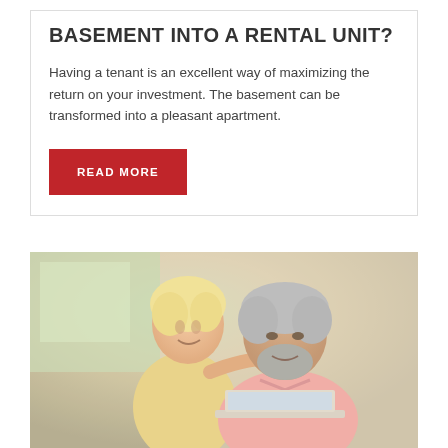BASEMENT INTO A RENTAL UNIT?
Having a tenant is an excellent way of maximizing the return on your investment. The basement can be transformed into a pleasant apartment.
READ MORE
[Figure (photo): An older couple — a woman with short blonde hair in a yellow top leaning over the shoulder of a man with gray hair and beard wearing a pink polo shirt — both smiling and looking at a laptop together in a bright room.]